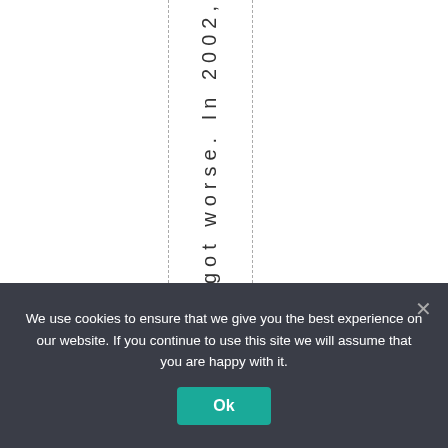gs got worse. In 2002,
We use cookies to ensure that we give you the best experience on our website. If you continue to use this site we will assume that you are happy with it.